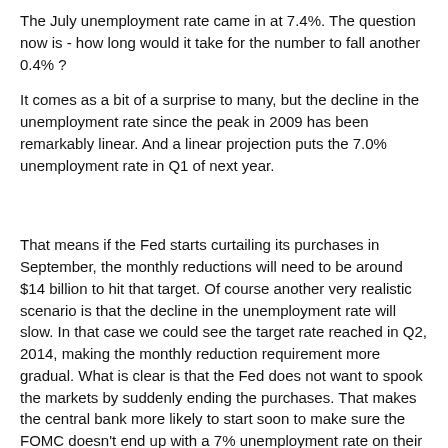The July unemployment rate came in at 7.4%. The question now is - how long would it take for the number to fall another 0.4% ?
It comes as a bit of a surprise to many, but the decline in the unemployment rate since the peak in 2009 has been remarkably linear. And a linear projection puts the 7.0% unemployment rate in Q1 of next year.
That means if the Fed starts curtailing its purchases in September, the monthly reductions will need to be around $14 billion to hit that target. Of course another very realistic scenario is that the decline in the unemployment rate will slow. In that case we could see the target rate reached in Q2, 2014, making the monthly reduction requirement more gradual. What is clear is that the Fed does not want to spook the markets by suddenly ending the purchases. That makes the central bank more likely to start soon to make sure the FOMC doesn't end up with a 7% unemployment rate on their